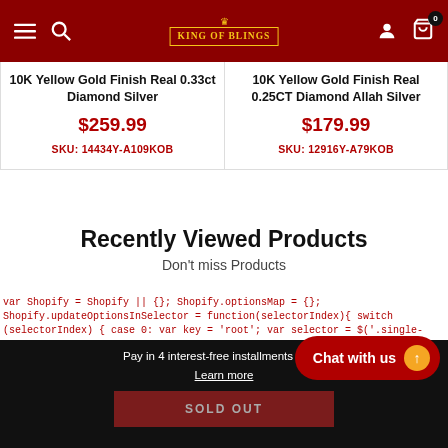King of Blings navigation bar with hamburger menu, search, logo, account, and cart icons
10K Yellow Gold Finish Real 0.33ct Diamond Silver
$259.99
SKU: 14434Y-A109KOB
10K Yellow Gold Finish Real 0.25CT Diamond Allah Silver
$179.99
SKU: 12916Y-A79KOB
Recently Viewed Products
Don't miss Products
var Shopify = Shopify || {}; Shopify.optionsMap = {}; Shopify.updateOptionsInSelector = function(selectorIndex){ switch (selectorIndex) { case 0: var key = 'root'; var selector = $('.single-option-selector:eq(0)'); break; case 1: var key = $('.single-option-selector:eq(0)').val(); var selector = $('.single-option-selector:eq(1)'); break; case 2: var key = $('.single-option-selector:eq(0)').val(); key += ' /'
Pay in 4 interest-free installments of $...
Learn more
SOLD OUT
Chat with us